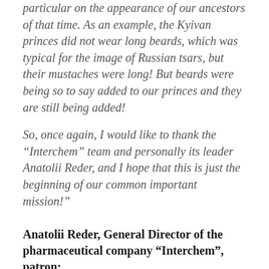particular on the appearance of our ancestors of that time. As an example, the Kyivan princes did not wear long beards, which was typical for the image of Russian tsars, but their mustaches were long! But beards were being so to say added to our princes and they are still being added!
So, once again, I would like to thank the “Interchem” team and personally its leader Anatolii Reder, and I hope that this is just the beginning of our common important mission!”
Anatolii Reder, General Director of the pharmaceutical company “Interchem”, patron:
“During the implementation of our previous project to drain the walls of St. Sophia Cathedral, I learned many little-known, but fascinating,